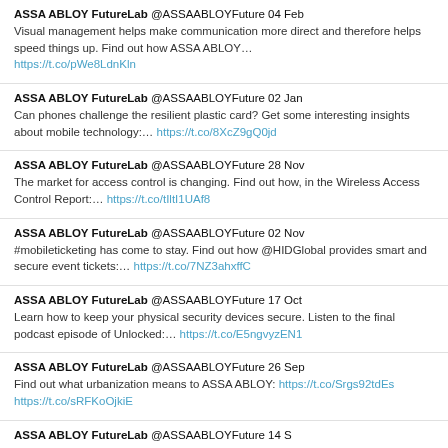ASSA ABLOY FutureLab @ASSAABLOYFuture 04 Feb
Visual management helps make communication more direct and therefore helps speed things up. Find out how ASSA ABLOY... https://t.co/pWe8LdnKln
ASSA ABLOY FutureLab @ASSAABLOYFuture 02 Jan
Can phones challenge the resilient plastic card? Get some interesting insights about mobile technology:... https://t.co/8XcZ9gQ0jd
ASSA ABLOY FutureLab @ASSAABLOYFuture 28 Nov
The market for access control is changing. Find out how, in the Wireless Access Control Report:... https://t.co/tIltI1UAf8
ASSA ABLOY FutureLab @ASSAABLOYFuture 02 Nov
#mobileticketing has come to stay. Find out how @HIDGlobal provides smart and secure event tickets:... https://t.co/7NZ3ahxffC
ASSA ABLOY FutureLab @ASSAABLOYFuture 17 Oct
Learn how to keep your physical security devices secure. Listen to the final podcast episode of Unlocked:... https://t.co/E5ngvyzEN1
ASSA ABLOY FutureLab @ASSAABLOYFuture 26 Sep
Find out what urbanization means to ASSA ABLOY: https://t.co/Srgs92tdEs https://t.co/sRFKoOjkiE
ASSA ABLOY FutureLab @ASSAABLOYFuture 14 S...